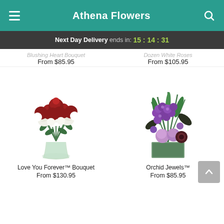Athena Flowers
Next Day Delivery ends in: 15:14:31
Blushing Heart Bouquet
From $85.95
Dozen White Roses
From $105.95
[Figure (photo): Red and white rose bouquet in a clear glass vase — Love You Forever™ Bouquet]
[Figure (photo): Purple orchid and lavender roses in a green square glass vase — Orchid Jewels™]
Love You Forever™ Bouquet
From $130.95
Orchid Jewels™
From $85.95